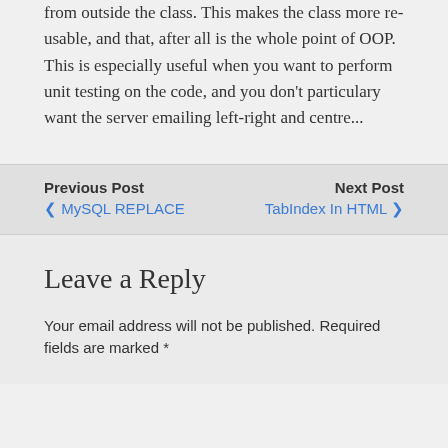from outside the class. This makes the class more re-usable, and that, after all is the whole point of OOP. This is especially useful when you want to perform unit testing on the code, and you don't particulary want the server emailing left-right and centre...
Previous Post ❮ MySQL REPLACE | Next Post TabIndex In HTML ❯
Leave a Reply
Your email address will not be published. Required fields are marked *